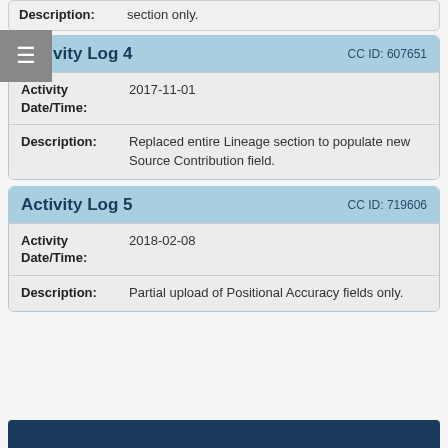| Field | Value |
| --- | --- |
| Description: | section only. |
Activity Log 4   CC ID: 607651
| Field | Value |
| --- | --- |
| Activity Date/Time: | 2017-11-01 |
| Description: | Replaced entire Lineage section to populate new Source Contribution field. |
Activity Log 5   CC ID: 719606
| Field | Value |
| --- | --- |
| Activity Date/Time: | 2018-02-08 |
| Description: | Partial upload of Positional Accuracy fields only. |